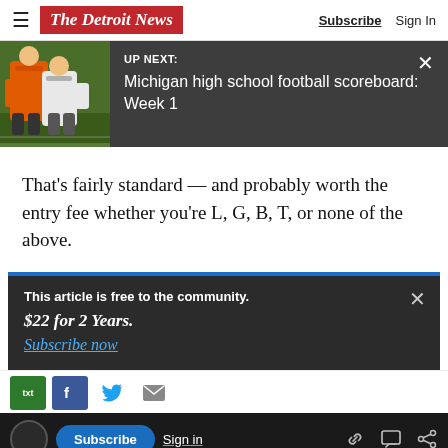The Detroit News — Subscribe  Sign In
[Figure (screenshot): UP NEXT banner with football game photo on left and text 'Michigan high school football scoreboard: Week 1' on dark background]
That's fairly standard — and probably worth the entry fee whether you're L, G, B, T, or none of the above.
This article is free to the community. $22 for 2 Years. Subscribe now
[Figure (screenshot): Bottom navigation bar with Subscribe button, Sign in, and social share icons]